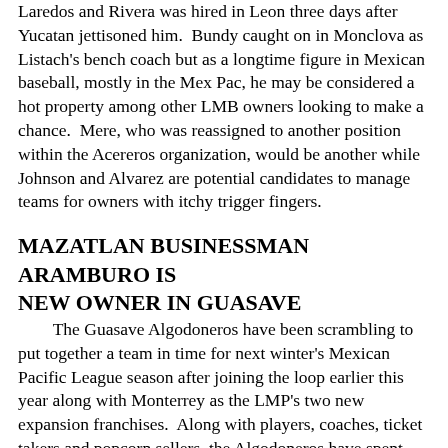Laredos and Rivera was hired in Leon three days after Yucatan jettisoned him. Bundy caught on in Monclova as Listach's bench coach but as a longtime figure in Mexican baseball, mostly in the Mex Pac, he may be considered a hot property among other LMB owners looking to make a chance. Mere, who was reassigned to another position within the Acereros organization, would be another while Johnson and Alvarez are potential candidates to manage teams for owners with itchy trigger fingers.
MAZATLAN BUSINESSMAN ARAMBURO IS NEW OWNER IN GUASAVE
The Guasave Algodoneros have been scrambling to put together a team in time for next winter's Mexican Pacific League season after joining the loop earlier this year along with Monterrey as the LMP's two new expansion franchises. Along with players, coaches, ticket takers and popcorn sellers, the Algodoneros have spent their short existence looking for a team owner after billionaire Alfredo Harp Helu made it clear that while he would